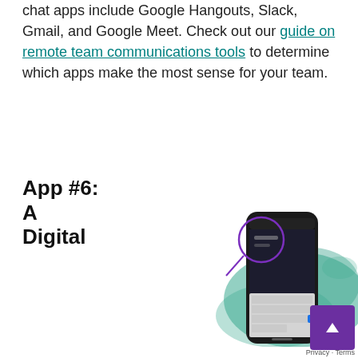chat apps include Google Hangouts, Slack, Gmail, and Google Meet. Check out our guide on remote team communications tools to determine which apps make the most sense for your team.
App #6:
A
Digital
[Figure (photo): A smartphone with a dark screen showing a messaging app interface and an on-screen keyboard, set against a teal watercolor paint splash background, with a purple circle annotation highlighting the top-left area of the phone screen.]
Privacy · Terms